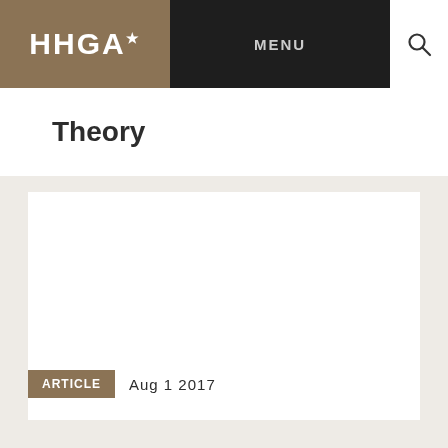HHGA★  MENU
Theory
[Figure (other): Blank white card/content area placeholder]
ARTICLE  Aug 1 2017